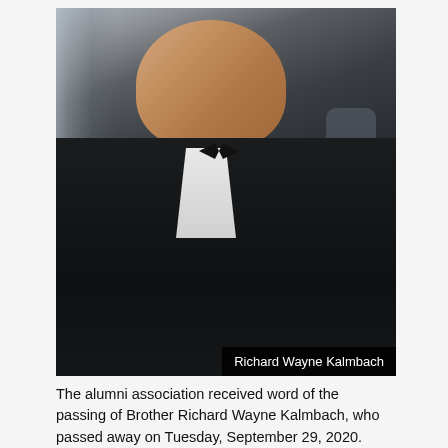[Figure (photo): Portrait photograph of Richard Wayne Kalmbach, a man wearing a black tuxedo with bow tie and white dress shirt, standing in what appears to be a formal venue with vertical light streaks in the background. Another person is partially visible in the background. A dark caption bar at the bottom right of the photo reads 'Richard Wayne Kalmbach'.]
Richard Wayne Kalmbach
The alumni association received word of the passing of Brother Richard Wayne Kalmbach, who passed away on Tuesday, September 29, 2020.